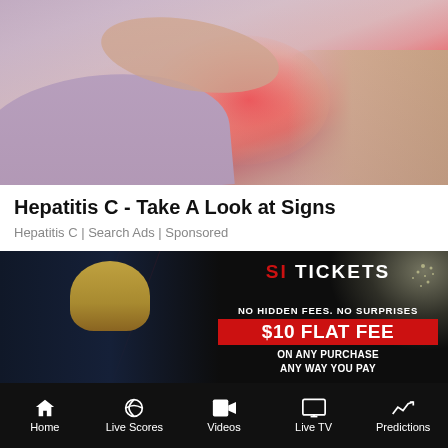[Figure (photo): Medical photo of a person in lavender clothing holding their leg/calf area with a red glow indicating pain at the knee/lower leg joint, lying on white bedding]
Hepatitis C - Take A Look at Signs
Hepatitis C | Search Ads | Sponsored
[Figure (photo): Sports ticket advertisement with dark background showing an American football player in blue jersey (#37), stadium lights, red diagonal lines, and text: SI TICKETS, NO HIDDEN FEES. NO SURPRISES, $10 FLAT FEE, ON ANY PURCHASE ANY WAY YOU PAY, SPEND $300 OR $3,000]
Home | Live Scores | Videos | Live TV | Predictions